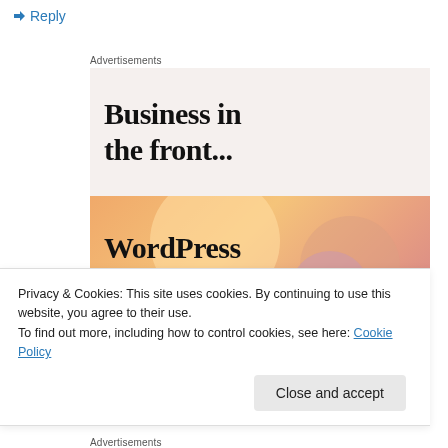↳ Reply
Advertisements
[Figure (illustration): Advertisement banner: top half shows 'Business in the front...' text on a light beige background; bottom half shows 'WordPress in the back.' text on an orange/peach gradient background with abstract blob shapes.]
Privacy & Cookies: This site uses cookies. By continuing to use this website, you agree to their use.
To find out more, including how to control cookies, see here: Cookie Policy
Close and accept
Advertisements